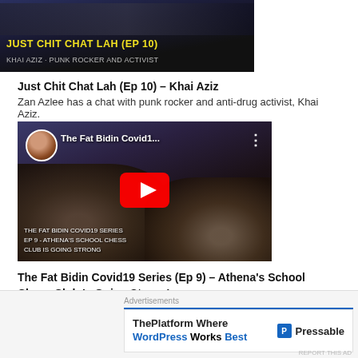[Figure (screenshot): Video thumbnail with dark background showing yellow bold text 'JUST CHIT CHAT LAH (EP 10)' and subtitle text]
Just Chit Chat Lah (Ep 10) – Khai Aziz
Zan Azlee has a chat with punk rocker and anti-drug activist, Khai Aziz.
[Figure (screenshot): YouTube video thumbnail for 'The Fat Bidin Covid1...' showing two people, play button, avatar, and caption text 'THE FAT BIDIN COVID19 SERIES EP 9 - ATHENA'S SCHOOL CHESS CLUB IS GOING STRONG']
The Fat Bidin Covid19 Series (Ep 9) – Athena's School Chess Club Is Going Strong!
What is all this hulabaloo about e-learning? How are schools handling the MCO?
Advertisements
[Figure (screenshot): Pressable advertisement: 'ThePlatform Where WordPress Works Best' with Pressable logo]